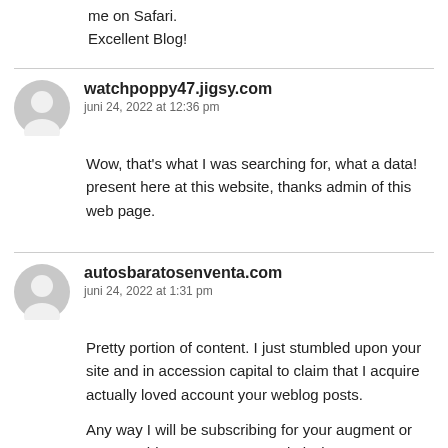me on Safari.
Excellent Blog!
watchpoppy47.jigsy.com
juni 24, 2022 at 12:36 pm
Wow, that's what I was searching for, what a data! present here at this website, thanks admin of this web page.
autosbaratosenventa.com
juni 24, 2022 at 1:31 pm
Pretty portion of content. I just stumbled upon your site and in accession capital to claim that I acquire actually loved account your weblog posts.

Any way I will be subscribing for your augment or even I achievement you get admission to consistently fast.